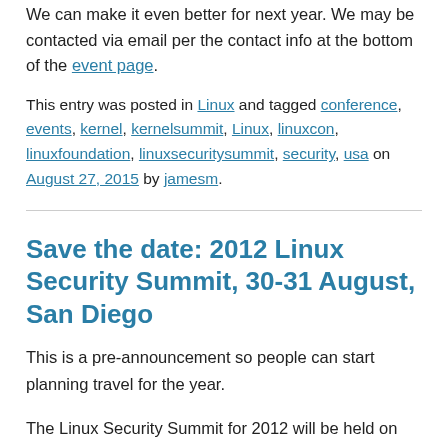We can make it even better for next year. We may be contacted via email per the contact info at the bottom of the event page.
This entry was posted in Linux and tagged conference, events, kernel, kernelsummit, Linux, linuxcon, linuxfoundation, linuxsecuritysummit, security, usa on August 27, 2015 by jamesm.
Save the date: 2012 Linux Security Summit, 30-31 August, San Diego
This is a pre-announcement so people can start planning travel for the year.
The Linux Security Summit for 2012 will be held on the 30th and 31st of August in San Diego, CA, USA. It will be co-